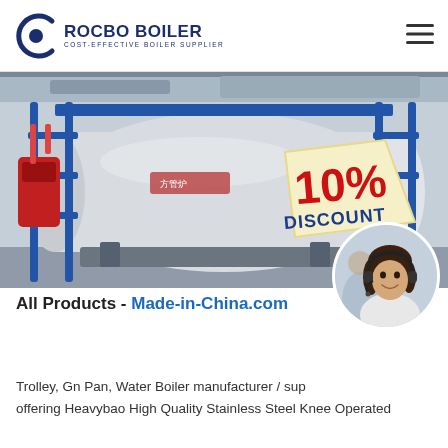ROCBO BOILER — COST-EFFECTIVE BOILER SUPPLIER
[Figure (photo): Industrial boiler equipment (large horizontal stainless steel boiler with blue support frame) inside a factory/warehouse, with a 10% DISCOUNT badge overlaid in the lower right of the image.]
[Figure (photo): Circular portrait of a smiling female customer-service representative wearing a headset.]
All Products - Made-in-China.com
Trolley, Gn Pan, Water Boiler manufacturer / sup offering Heavybao High Quality Stainless Steel Knee Operated